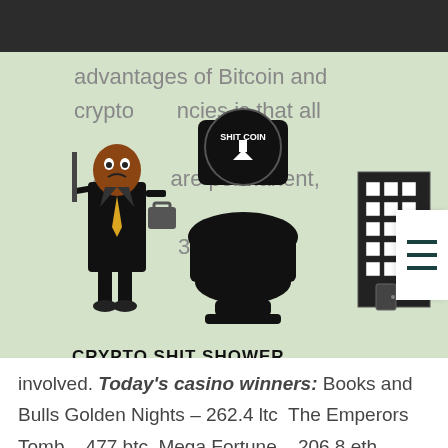[Figure (illustration): Crypto Shit Shower illustration with a character in a suit, a toilet with 'SHIT COIN' label, a building, and text 'CRYPTO SHIT SHOWER']
advantages of Bitcoin and cryptocurrencies is that all transactions are permanent, though 3rd party involved. Today's casino winners: Books and Bulls Golden Nights – 262.4 ltc  The Emperors Tomb – 477 btc  Mega Fortune – 206.8 eth  Ocean Princess – 503.7 bch  Wild Hills – 587.1 dog  Munchers – 491.9 usdt  Spectra – 517.6 usdt